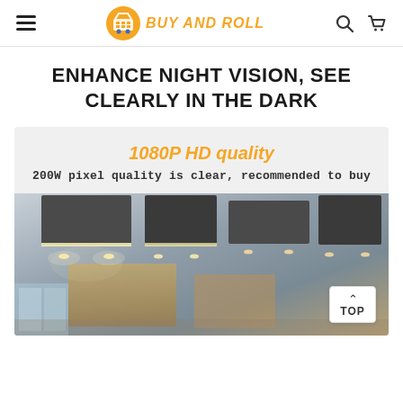BUY AND ROLL
ENHANCE NIGHT VISION, SEE CLEARLY IN THE DARK
[Figure (infographic): Product promotional card with orange text '1080P HD quality' and subtitle '200W pixel quality is clear, recommended to buy', followed by a photo of a modern commercial interior ceiling with recessed and pendant lighting fixtures.]